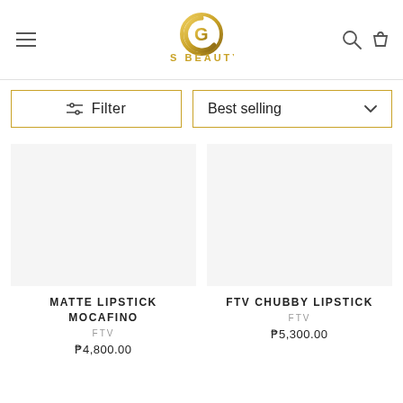[Figure (logo): LS Beauty gold logo with circular G-like emblem and text LS BEAUTY in gold letters]
Filter
Best selling
MATTE LIPSTICK MOCAFINO
FTV
₱4,800.00
FTV CHUBBY LIPSTICK
FTV
₱5,300.00